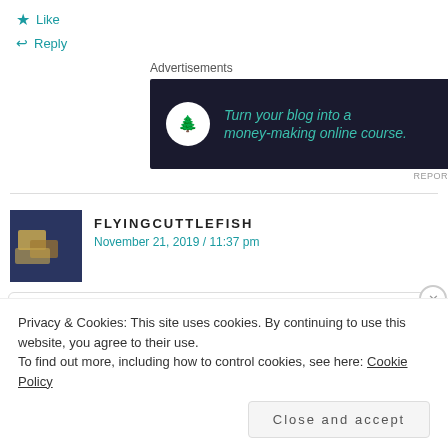★ Like
↩ Reply
Advertisements
[Figure (illustration): Dark advertisement banner: bonsai tree icon, text 'Turn your blog into a money-making online course.' with arrow]
REPORT THIS AD
FLYINGCUTTLEFISH
November 21, 2019 / 11:37 pm
[Figure (screenshot): Tweet card showing Lisa Bloom with verified checkmark and Twitter bird icon]
Privacy & Cookies: This site uses cookies. By continuing to use this website, you agree to their use.
To find out more, including how to control cookies, see here: Cookie Policy
Close and accept